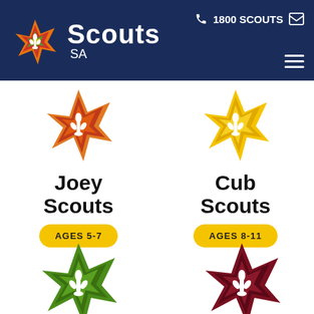[Figure (screenshot): Scouts SA website header with logo (colorful fleur-de-lis star), 'Scouts SA' text, phone number 1800 SCOUTS, email icon, and hamburger menu]
[Figure (logo): Joey Scouts orange/red star logo with fleur-de-lis]
Joey Scouts
AGES 5-7
[Figure (logo): Cub Scouts yellow star logo with fleur-de-lis]
Cub Scouts
AGES 8-11
[Figure (logo): Green star logo with white fleur-de-lis (Scouts section)]
[Figure (logo): Dark red/maroon star logo with white fleur-de-lis (Scouts section)]